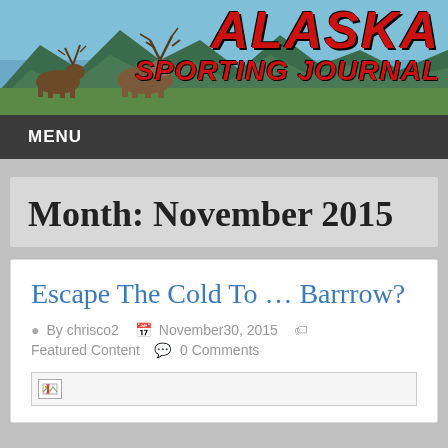[Figure (photo): Alaska Sporting Journal website header banner with caribou/reindeer in mountain landscape and red bold 'ALASKA SPORTING JOURNAL' logo text on the right]
MENU
Month: November 2015
Escape The Cold To … Barrrow?
By chrisco2   November30, 2015   Featured Content   0 Comments
[Figure (photo): Broken image placeholder thumbnail]